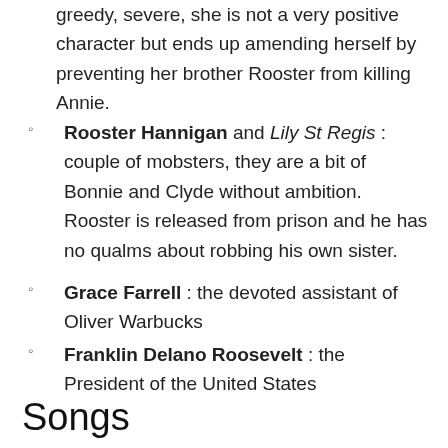greedy, severe, she is not a very positive character but ends up amending herself by preventing her brother Rooster from killing Annie.
Rooster Hannigan and Lily St Regis : couple of mobsters, they are a bit of Bonnie and Clyde without ambition. Rooster is released from prison and he has no qualms about robbing his own sister.
Grace Farrell : the devoted assistant of Oliver Warbucks
Franklin Delano Roosevelt : the President of the United States
Songs
Several of Annie's songs have become great